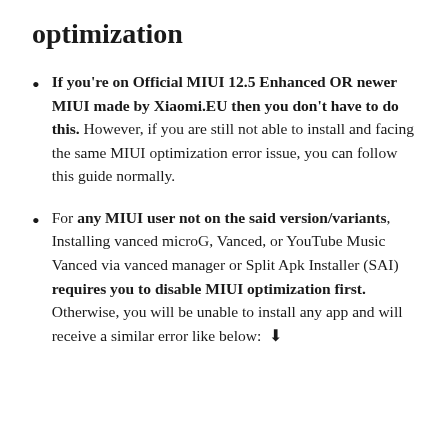optimization
If you're on Official MIUI 12.5 Enhanced OR newer MIUI made by Xiaomi.EU then you don't have to do this. However, if you are still not able to install and facing the same MIUI optimization error issue, you can follow this guide normally.
For any MIUI user not on the said version/variants, Installing vanced microG, Vanced, or YouTube Music Vanced via vanced manager or Split Apk Installer (SAI) requires you to disable MIUI optimization first. Otherwise, you will be unable to install any app and will receive a similar error like below: ↓